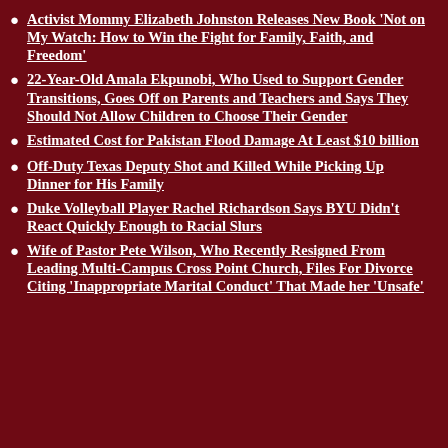Activist Mommy Elizabeth Johnston Releases New Book ‘Not on My Watch: How to Win the Fight for Family, Faith, and Freedom’
22-Year-Old Amala Ekpunobi, Who Used to Support Gender Transitions, Goes Off on Parents and Teachers and Says They Should Not Allow Children to Choose Their Gender
Estimated Cost for Pakistan Flood Damage At Least $10 billion
Off-Duty Texas Deputy Shot and Killed While Picking Up Dinner for His Family
Duke Volleyball Player Rachel Richardson Says BYU Didn’t React Quickly Enough to Racial Slurs
Wife of Pastor Pete Wilson, Who Recently Resigned From Leading Multi-Campus Cross Point Church, Files For Divorce Citing ‘Inappropriate Marital Conduct’ That Made her ‘Unsafe’